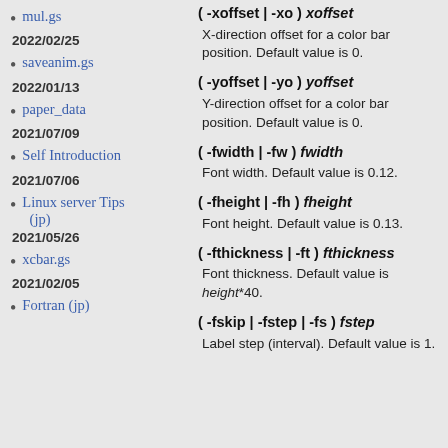mul.gs
2022/02/25
saveanim.gs
2022/01/13
paper_data
2021/07/09
Self Introduction
2021/07/06
Linux server Tips (jp)
2021/05/26
xcbar.gs
2021/02/05
Fortran (jp)
( -xoffset | -xo ) xoffset
X-direction offset for a color bar position. Default value is 0.
( -yoffset | -yo ) yoffset
Y-direction offset for a color bar position. Default value is 0.
( -fwidth | -fw ) fwidth
Font width. Default value is 0.12.
( -fheight | -fh ) fheight
Font height. Default value is 0.13.
( -fthickness | -ft ) fthickness
Font thickness. Default value is height*40.
( -fskip | -fstep | -fs ) fstep
Label step (interval). Default value is 1.